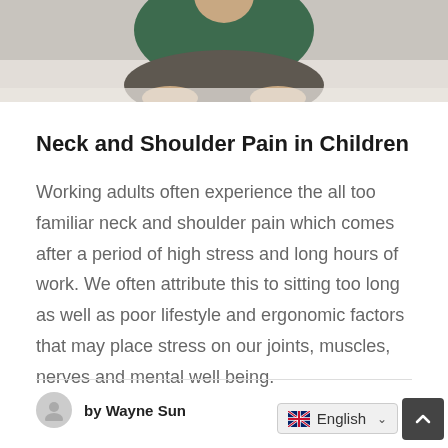[Figure (photo): Person sitting cross-legged on floor, seen from behind/side, wearing dark green top and grey pants, on a light background]
Neck and Shoulder Pain in Children
Working adults often experience the all too familiar neck and shoulder pain which comes after a period of high stress and long hours of work. We often attribute this to sitting too long as well as poor lifestyle and ergonomic factors that may place stress on our joints, muscles, nerves and mental well being.
by Wayne Sun
English